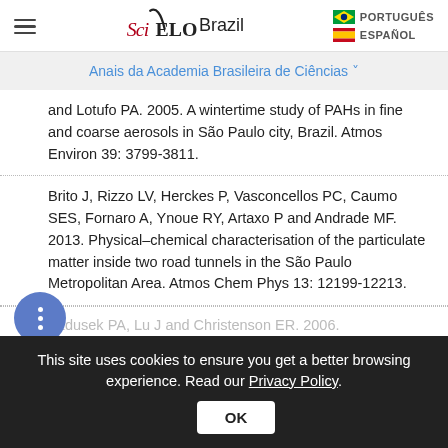SciELO Brazil | PORTUGUÊS | ESPAÑOL
Anais da Academia Brasileira de Ciências
and Lotufo PA. 2005. A wintertime study of PAHs in fine and coarse aerosols in São Paulo city, Brazil. Atmos Environ 39: 3799-3811.
Brito J, Rizzo LV, Herckes P, Vasconcellos PC, Caumo SES, Fornaro A, Ynoue RY, Artaxo P and Andrade MF. 2013. Physical–chemical characterisation of the particulate matter inside two road tunnels in the São Paulo Metropolitan Area. Atmos Chem Phys 13: 12199-12213.
Bzdusek PA, Lu J and Christenson ER. 2006.
This site uses cookies to ensure you get a better browsing experience. Read our Privacy Policy.